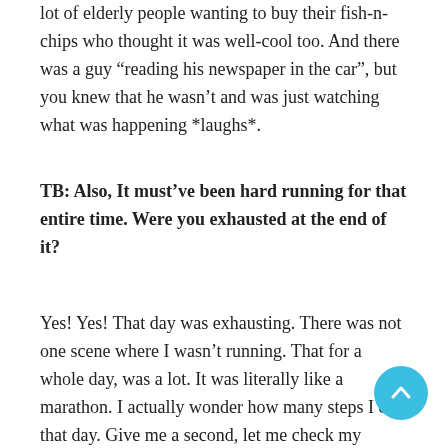lot of elderly people wanting to buy their fish-n-chips who thought it was well-cool too. And there was a guy “reading his newspaper in the car”, but you knew that he wasn’t and was just watching what was happening *laughs*.
TB: Also, It must’ve been hard running for that entire time. Were you exhausted at the end of it?
Yes! Yes! That day was exhausting. There was not one scene where I wasn’t running. That for a whole day, was a lot. It was literally like a marathon. I actually wonder how many steps I did that day. Give me a second, let me check my phone. *Checks phone health app*. Okay, it was 15,000 steps. That doesn’t feel like a lot, but it